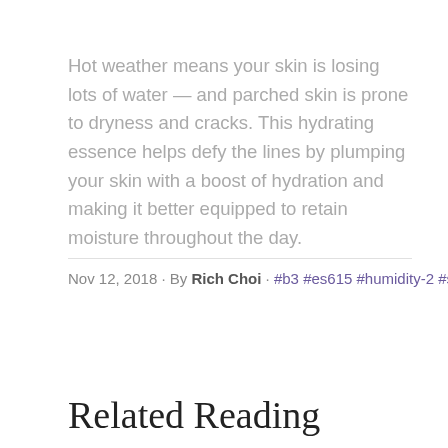Hot weather means your skin is losing lots of water — and parched skin is prone to dryness and cracks. This hydrating essence helps defy the lines by plumping your skin with a boost of hydration and making it better equipped to retain moisture throughout the day.
Nov 12, 2018 · By Rich Choi · #b3 #es615 #humidity-2 #s7
Related Reading